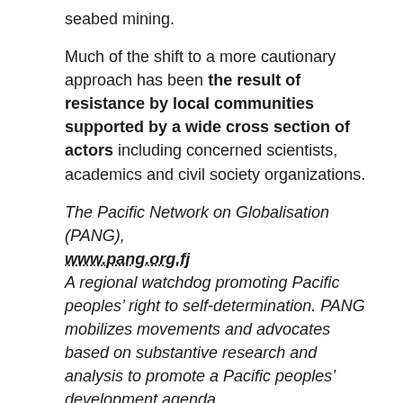seabed mining.
Much of the shift to a more cautionary approach has been the result of resistance by local communities supported by a wide cross section of actors including concerned scientists, academics and civil society organizations.
The Pacific Network on Globalisation (PANG), www.pang.org.fj
A regional watchdog promoting Pacific peoples’ right to self-determination. PANG mobilizes movements and advocates based on substantive research and analysis to promote a Pacific peoples’ development agenda.
(1) There are 26 Pacific island countries of which 16 are sovereign states, while 8 are still territories